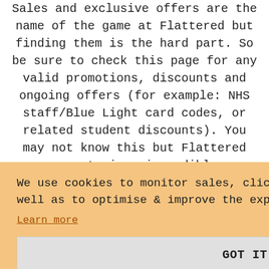Sales and exclusive offers are the name of the game at Flattered but finding them is the hard part. So be sure to check this page for any valid promotions, discounts and ongoing offers (for example: NHS staff/Blue Light card codes, or related student discounts). You may not know this but Flattered operate in a incredibly competitive niche, so getting a discount isn't hard if you look in the right place -- let's hope
We use cookies to monitor sales, clicks and marketing performance as well as to optimise & improve the experiences that you receive. Learn more
GOT IT!
...e.